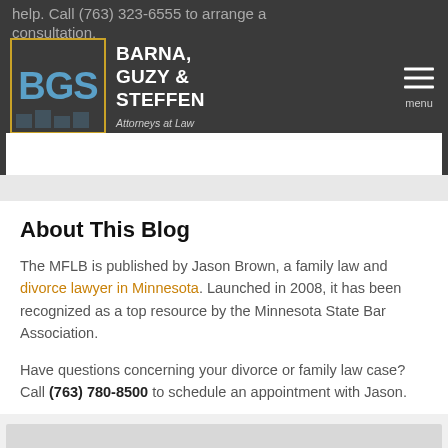help. Call (763) 323-6555 to arrange a consultation.
[Figure (logo): Barna, Guzy & Steffen law firm logo with BGS letters in blue on dark background with gold border, firm name in white, tagline Attorneys at Law]
About This Blog
The MFLB is published by Jason Brown, a family law and divorce lawyer in Minnesota. Launched in 2008, it has been recognized as a top resource by the Minnesota State Bar Association.
Have questions concerning your divorce or family law case? Call (763) 780-8500 to schedule an appointment with Jason.